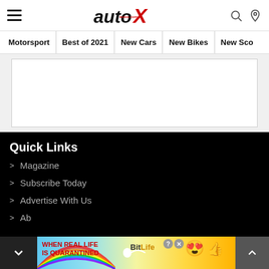autoX - Motorsport | Best of 2021 | New Cars | New Bikes | New Scoo
[Figure (screenshot): White advertisement placeholder box on light grey background]
Quick Links
Magazine
Subscribe Today
Advertise With Us
Ab...
Co...
[Figure (screenshot): BitLife advertisement banner: WHEN REAL LIFE IS QUARANTINED]
Quick links footer with up arrow scroll button